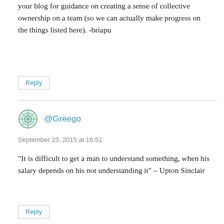your blog for guidance on creating a sense of collective ownership on a team (so we can actually make progress on the things listed here). -briapu
Reply
@Greego
September 23, 2015 at 16:51
"It is difficult to get a man to understand something, when his salary depends on his not understanding it" – Upton Sinclair
Reply